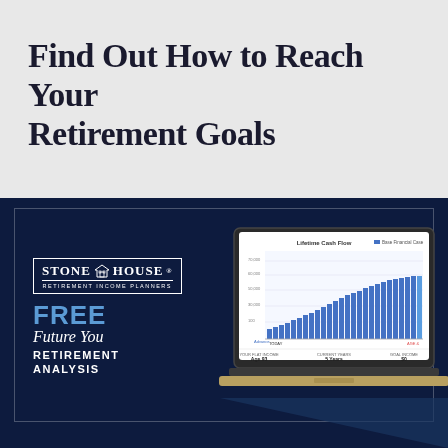Find Out How to Reach Your Retirement Goals
[Figure (infographic): Dark navy advertisement banner for Stone House Retirement Income Planners. Left side shows Stone House logo and text 'FREE Future You RETIREMENT ANALYSIS'. Right side shows a laptop displaying a bar chart titled 'Lifetime Cash Flow' with rising blue bars, and data fields showing 'Your Flat Income: Age 93', 'Current Years: 5 Years', 'Goal Income: $0'.]